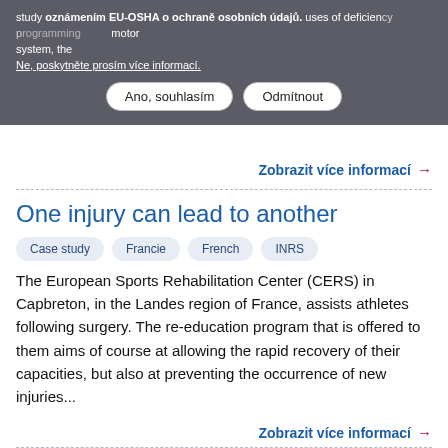study oznámením EU-OSHA o ochraně osobních údajů. uses of deficiency programming motor system, the
Ne, poskytněte prosím více informací.
Ano, souhlasím   Odmítnout
Zobrazit více informací →
One injury can lead to another
Case study
Francie
French
INRS
The European Sports Rehabilitation Center (CERS) in Capbreton, in the Landes region of France, assists athletes following surgery. The re-education program that is offered to them aims of course at allowing the rapid recovery of their capacities, but also at preventing the occurrence of new injuries...
Zobrazit více informací →